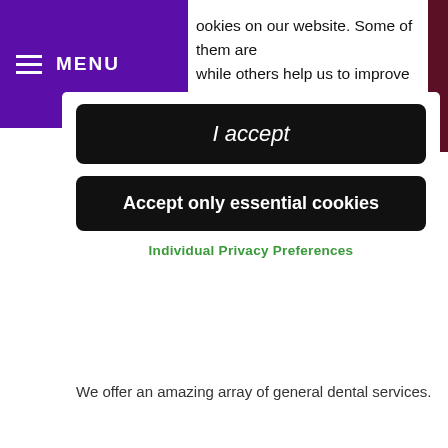MENU
ookies on our website. Some of them are while others help us to improve this nd your experience.
I accept
Accept only essential cookies
Individual Privacy Preferences
We offer an amazing array of general dental services.
LEARN MORE
Google Rated 4.6 ★★★★★
Make an enquiry...